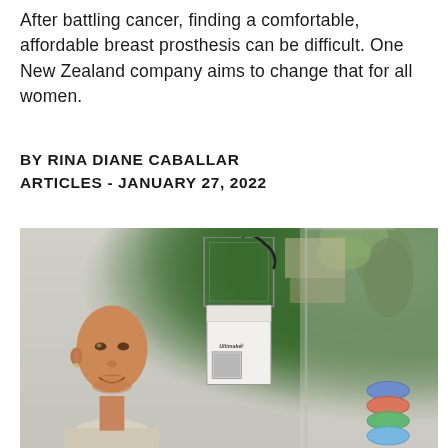After battling cancer, finding a comfortable, affordable breast prosthesis can be difficult. One New Zealand company aims to change that for all women.
BY RINA DIANE CABALLAR
ARTICLES - JANUARY 27, 2022
[Figure (photo): A bald woman (likely undergoing cancer treatment) smiling next to a white Ultimaker 3D printer on a desk, with colorful filament spools visible on the right and green foliage visible through a window in the background.]